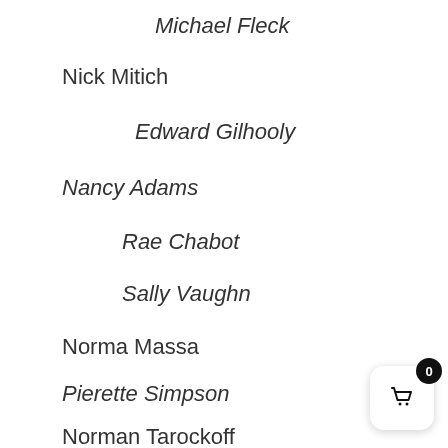Michael Fleck
Nick Mitich
Edward Gilhooly
Nancy Adams
Rae Chabot
Sally Vaughn
Norma Massa
Pierette Simpson
Norman Tarockoff